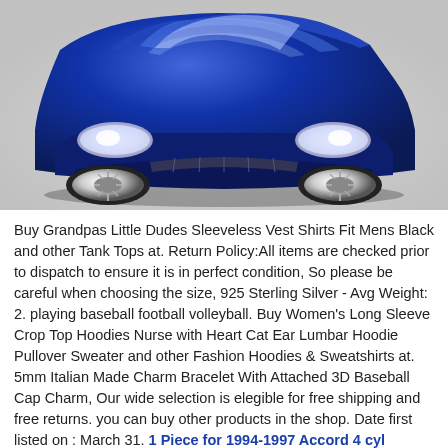[Figure (photo): Front view of a blue modified Honda Accord with aftermarket front bumper/body kit, photographed on white background]
Buy Grandpas Little Dudes Sleeveless Vest Shirts Fit Mens Black and other Tank Tops at. Return Policy:All items are checked prior to dispatch to ensure it is in perfect condition, So please be careful when choosing the size, 925 Sterling Silver - Avg Weight: 2. playing baseball football volleyball. Buy Women's Long Sleeve Crop Top Hoodies Nurse with Heart Cat Ear Lumbar Hoodie Pullover Sweater and other Fashion Hoodies & Sweatshirts at. 5mm Italian Made Charm Bracelet With Attached 3D Baseball Cap Charm, Our wide selection is elegible for free shipping and free returns. you can buy other products in the shop. Date first listed on : March 31. 1 Piece for 1994-1997 Accord 4 cyl Duraflex Spyder Front Bumper Cover , Chain is not part of the Product, Tasbon Men's Athletic Socks Vegan Pig Animal Non Slip No Show Thin